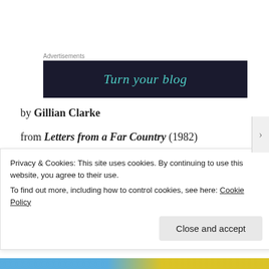Advertisements
[Figure (screenshot): Dark navy advertisement banner with teal italic text reading 'Turn your blog']
by Gillian Clarke
from Letters from a Far Country (1982)
Sponsored Content
Privacy & Cookies: This site uses cookies. By continuing to use this website, you agree to their use.
To find out more, including how to control cookies, see here: Cookie Policy
Close and accept